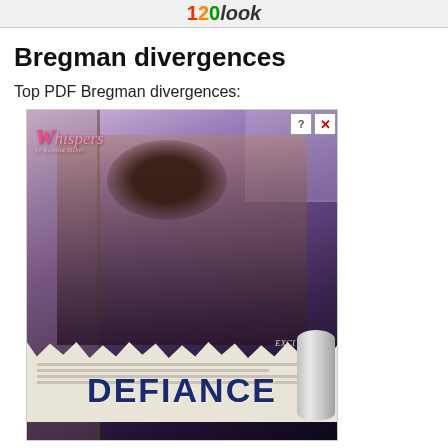1Z0 look
Bregman divergences
Top PDF Bregman divergences:
[Figure (illustration): Advertisement image for 'Whispers' titled 'DEFIANCE' showing a romantic couple with torn newspaper effect at the bottom displaying the word DEFIANCE in bold dark letters, with a scroll cylinder on the right side and help/close buttons in the top right corner.]